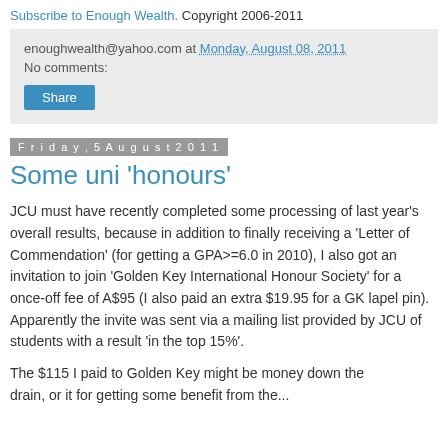Subscribe to Enough Wealth. Copyright 2006-2011
enoughwealth@yahoo.com at Monday, August 08, 2011
No comments:
Share
Friday, 5 August 2011
Some uni 'honours'
JCU must have recently completed some processing of last year's overall results, because in addition to finally receiving a 'Letter of Commendation' (for getting a GPA>=6.0 in 2010), I also got an invitation to join 'Golden Key International Honour Society' for a once-off fee of A$95 (I also paid an extra $19.95 for a GK lapel pin). Apparently the invite was sent via a mailing list provided by JCU of students with a result 'in the top 15%'.
The $115 I paid to Golden Key might be money down the drain, or it for getting some benefit from the...